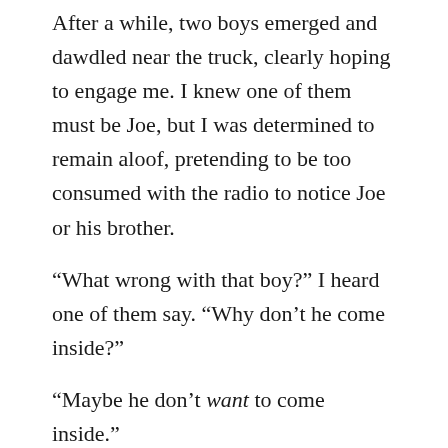After a while, two boys emerged and dawdled near the truck, clearly hoping to engage me. I knew one of them must be Joe, but I was determined to remain aloof, pretending to be too consumed with the radio to notice Joe or his brother.
“What wrong with that boy?” I heard one of them say. “Why don’t he come inside?”
“Maybe he don’t want to come inside.”
“Sure seem strange to me.”
Then my father walked out and opened the